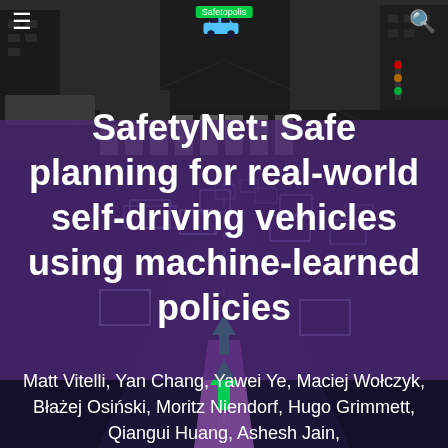≡  [car logo icon]  🔍
[Figure (photo): Background composite image: top half shows a grayscale city street scene with tall buildings and a crosswalk viewed from a driving perspective. Bottom half shows a purple-tinted autonomous vehicle perception visualization with wireframe bounding boxes around vehicles on a road, and a purple highlighted ego vehicle path with green arrow indicators.]
SafetyNet: Safe planning for real-world self-driving vehicles using machine-learned policies
Matt Vitelli, Yan Chang, Yawei Ye, Maciej Wołczyk, Błażej Osiński, Moritz Niendorf, Hugo Grimmett, Qiangui Huang, Ashesh Jain,